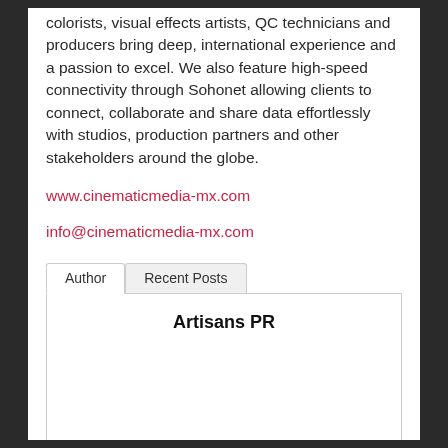colorists, visual effects artists, QC technicians and producers bring deep, international experience and a passion to excel. We also feature high-speed connectivity through Sohonet allowing clients to connect, collaborate and share data effortlessly with studios, production partners and other stakeholders around the globe.
www.cinematicmedia-mx.com
info@cinematicmedia-mx.com
Author | Recent Posts
Artisans PR